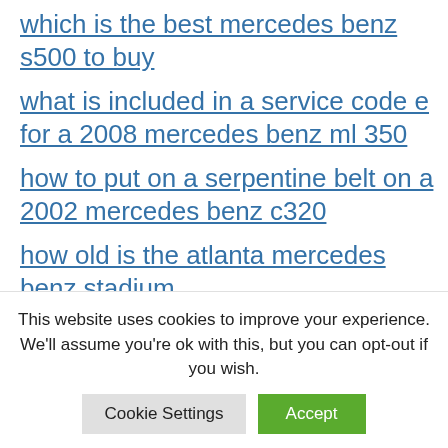which is the best mercedes benz s500 to buy
what is included in a service code e for a 2008 mercedes benz ml 350
how to put on a serpentine belt on a 2002 mercedes benz c320
how old is the atlanta mercedes benz stadium
what size 2014 mercedes-benz sprinter 3.0l 2987cc v6 diesel dohc
This website uses cookies to improve your experience. We'll assume you're ok with this, but you can opt-out if you wish.